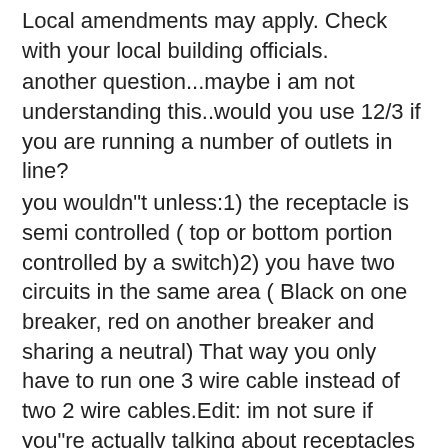Local amendments may apply. Check with your local building officials.
another question...maybe i am not understanding this..would you use 12/3 if you are running a number of outlets in line?
you wouldn"t unless:1) the receptacle is semi controlled ( top or bottom portion controlled by a switch)2) you have two circuits in the same area ( Black on one breaker, red on another breaker and sharing a neutral) That way you only have to run one 3 wire cable instead of two 2 wire cables.Edit: im not sure if you"re actually talking about receptacles or lighting outlets..alot of ppl call recpetacles, "outlets"
Continue with Google
A forum community dedicated to Do it yourself-ers and home improvement enthusiasts. Come join the discussion about tools, projects, builds, styles, scales, reviews, accessories, classifieds, and more! Helping You to Do It Yourself!